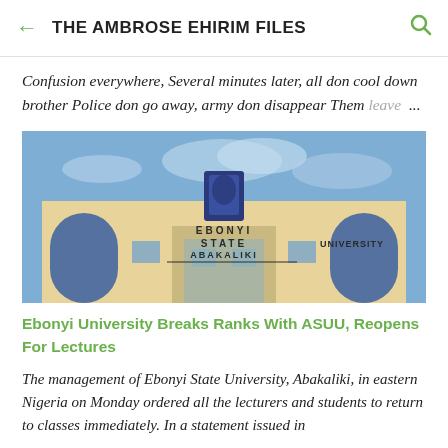THE AMBROSE EHIRIM FILES
Confusion everywhere, Several minutes later, all don cool down brother Police don go away, army don disappear Them leave ...
[Figure (photo): Photograph of Ebonyi State University Abakaliki building facade with text on the front reading EBONYI STATE UNIVERSITY ABAKALIKI, blue sky in background.]
Ebonyi University Breaks Ranks With ASUU, Reopens For Lectures
The management of Ebonyi State University, Abakaliki, in eastern Nigeria on Monday ordered all the lecturers and students to return to classes immediately. In a statement issued in